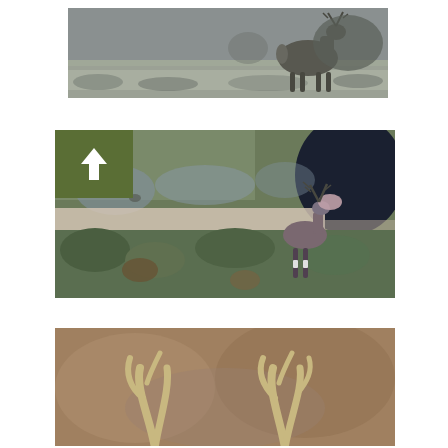[Figure (photo): Grayscale/desaturated photo of a large stag (red deer) standing in tall grass in an open field. The image is horizontally cropped, showing the deer in profile against a grey sky and muted grassland background.]
[Figure (photo): Stylized/posterized color image of a fallow deer with antlers standing in a meadow with lush green vegetation. A dark tree is visible in the upper right. A green rectangle with a white upward-pointing arrow is overlaid in the upper left corner of the image.]
[Figure (photo): Close-up photo partially visible at the bottom of the page showing deer antlers against a brownish-tan blurred background. Two sets of antlers are visible.]